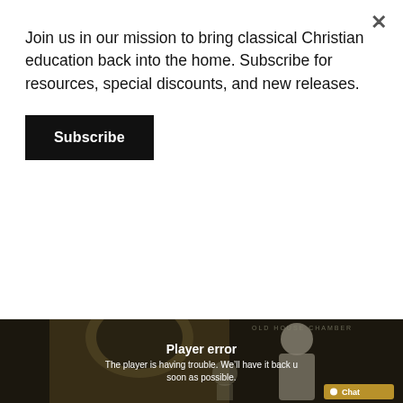Join us in our mission to bring classical Christian education back into the home. Subscribe for resources, special discounts, and new releases.
Subscribe
[Figure (screenshot): Video player showing a darkened historical chamber interior with a statue of a founding father. A 'Player error' overlay reads: 'The player is having trouble. We'll have it back up as soon as possible.' A gold chat button is visible in the bottom right.]